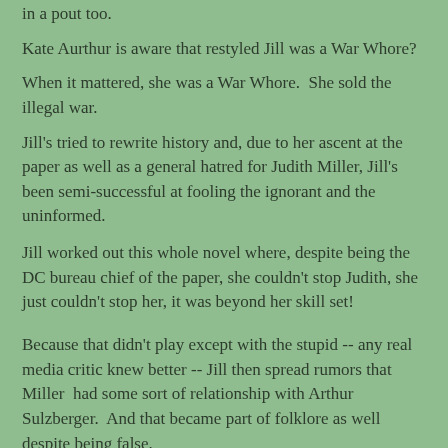in a pout too.
Kate Aurthur is aware that restyled Jill was a War Whore?
When it mattered, she was a War Whore.  She sold the illegal war.
Jill's tried to rewrite history and, due to her ascent at the paper as well as a general hatred for Judith Miller, Jill's been semi-successful at fooling the ignorant and the uninformed.
Jill worked out this whole novel where, despite being the DC bureau chief of the paper, she couldn't stop Judith, she just couldn't stop her, it was beyond her skill set!
Because that didn't play except with the stupid -- any real media critic knew better -- Jill then spread rumors that Miller  had some sort of relationship with Arthur Sulzberger.  And that became part of folklore as well despite being false.